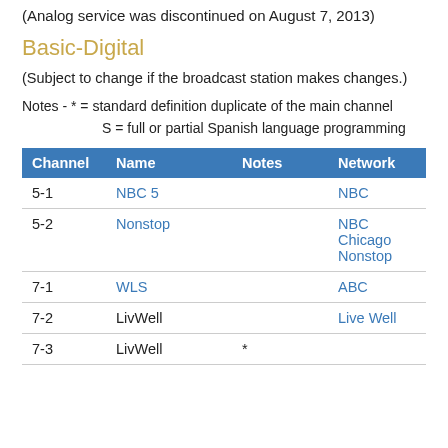(Analog service was discontinued on August 7, 2013)
Basic-Digital
(Subject to change if the broadcast station makes changes.)
Notes - * = standard definition duplicate of the main channel
        S = full or partial Spanish language programming
| Channel | Name | Notes | Network |
| --- | --- | --- | --- |
| 5-1 | NBC 5 |  | NBC |
| 5-2 | Nonstop |  | NBC Chicago Nonstop |
| 7-1 | WLS |  | ABC |
| 7-2 | LivWell |  | Live Well |
| 7-3 | LivWell | * |  |